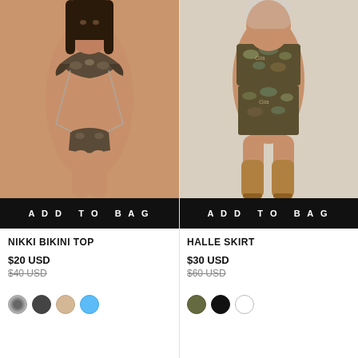[Figure (photo): Model wearing a snake print bikini top with chain-wrap ties, brown/earth tones]
[Figure (photo): Model wearing a snake/camo print tube top and mini skirt set with tan knee-high boots]
ADD TO BAG
ADD TO BAG
NIKKI BIKINI TOP
HALLE SKIRT
$20 USD
$30 USD
$40 USD
$60 USD